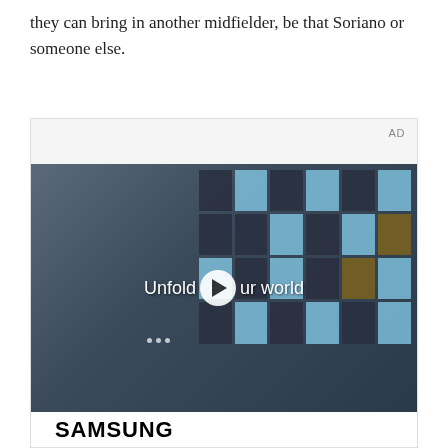they can bring in another midfielder, be that Soriano or someone else.
[Figure (other): Advertisement video thumbnail showing a young man in a denim jacket walking in a cafeteria setting with a blue-tiled window wall behind him. A play button overlays the center with the text 'Unfold your world'. Below the video thumbnail is the Samsung logo on a white background. The ad label 'AD' appears in the top right corner of the ad container.]